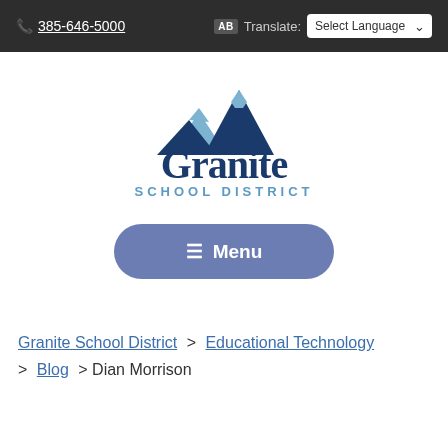📞 385-646-5000  [AB] Translate: Select Language
[Figure (logo): Granite School District logo with mountain peaks graphic and text 'Granite SCHOOL DISTRICT']
≡ Menu
Granite School District > Educational Technology > Blog > Dian Morrison